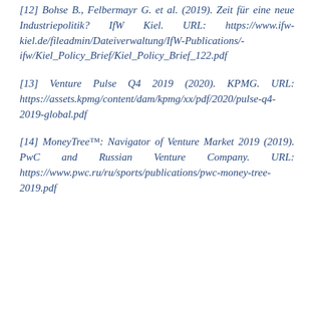[12] Bohse B., Felbermayr G. et al. (2019). Zeit für eine neue Industriepolitik? IfW Kiel. URL: https://www.ifw-kiel.de/fileadmin/Dateiverwaltung/IfW-Publications/-ifw/Kiel_Policy_Brief/Kiel_Policy_Brief_122.pdf
[13] Venture Pulse Q4 2019 (2020). KPMG. URL: https://assets.kpmg/content/dam/kpmg/xx/pdf/2020/pulse-q4-2019-global.pdf
[14] MoneyTree™: Navigator of Venture Market 2019 (2019). PwC and Russian Venture Company. URL: https://www.pwc.ru/ru/sports/publications/pwc-money-tree-2019.pdf